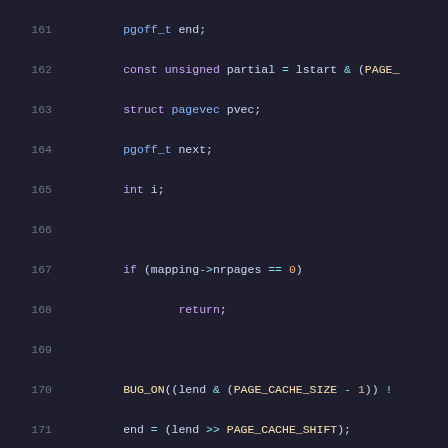[Figure (screenshot): Source code listing showing C kernel code, lines 161-181, with syntax highlighting on dark background. Keywords in purple, types in blue, functions in cyan, numbers in orange, macros in yellow.]